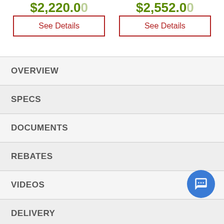$2,220.00 / $2,552.00
See Details
See Details
OVERVIEW
SPECS
DOCUMENTS
REBATES
VIDEOS
DELIVERY
WARRANTY